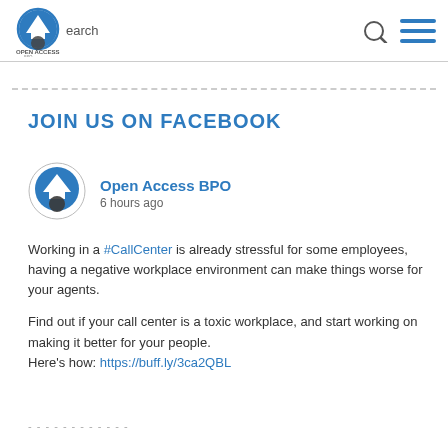[Figure (logo): Open Access BPO logo with search icon and hamburger menu in header]
JOIN US ON FACEBOOK
[Figure (logo): Open Access BPO circular logo used in Facebook post]
Open Access BPO
6 hours ago
Working in a #CallCenter is already stressful for some employees, having a negative workplace environment can make things worse for your agents.
Find out if your call center is a toxic workplace, and start working on making it better for your people.
Here's how: https://buff.ly/3ca2QBL